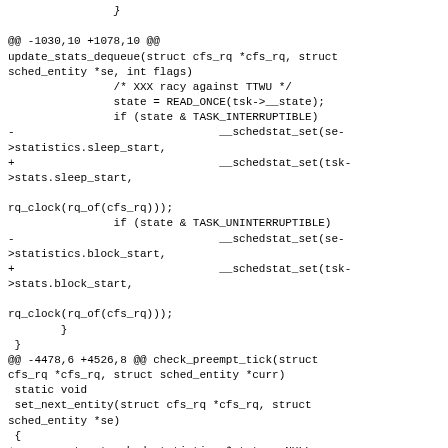[Figure (other): Partial code diff showing a closing brace at the top]
@@ -1030,10 +1078,10 @@
update_stats_dequeue(struct cfs_rq *cfs_rq, struct sched_entity *se, int flags)
                /* XXX racy against TTWU */
                state = READ_ONCE(tsk->__state);
                if (state & TASK_INTERRUPTIBLE)
-                               __schedstat_set(se->statistics.sleep_start,
+                               __schedstat_set(tsk->stats.sleep_start,

rq_clock(rq_of(cfs_rq)));
                if (state & TASK_UNINTERRUPTIBLE)
-                               __schedstat_set(se->statistics.block_start,
+                               __schedstat_set(tsk->stats.block_start,

rq_clock(rq_of(cfs_rq)));
        }
 }
@@ -4478,6 +4526,8 @@ check_preempt_tick(struct cfs_rq *cfs_rq, struct sched_entity *curr)
 static void
 set_next_entity(struct cfs_rq *cfs_rq, struct sched_entity *se)
 {
+        struct sched_statistics *stats = NULL;